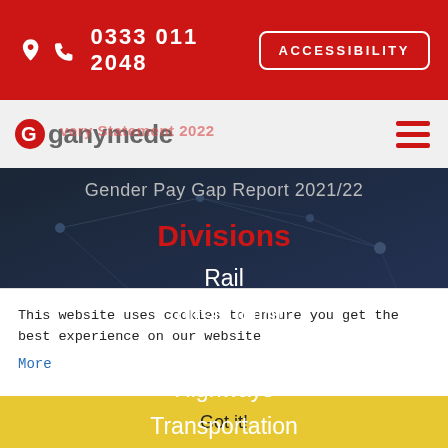0333 011 2048  ACCESSIBILITY
[Figure (logo): Ganymede logo with red G icon and grey 'ganymede' wordmark]
Gender Pay Gap Report 2021/22
Divisions
Rail
Construction
Energy
Highways
Transportation
Head Office
This website uses cookies to ensure you get the best experience on our website
More
Got it!